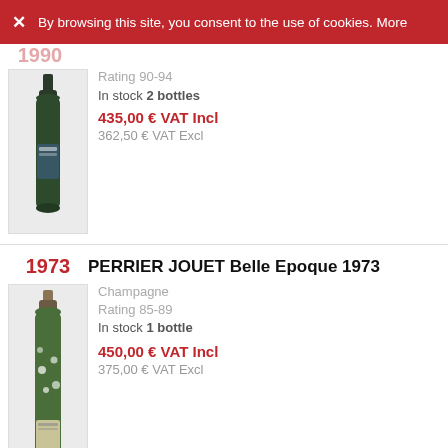By browsing this site, you consent to the use of cookies. More
1990
[Figure (photo): Dark green champagne bottle, partially visible at top]
Rating 90-94
In stock 2 bottles
435,00 € VAT Incl
362,50 € VAT Excl
1973
PERRIER JOUET Belle Epoque 1973
[Figure (photo): Green champagne bottle with white floral design, Perrier-Jouet Belle Epoque 1973]
Champagne
Rating 85-89
In stock 1 bottle
450,00 € VAT Incl
375,00 € VAT Excl
1998
DOM PERIGNON 1998
[Figure (photo): Dark champagne bottle, Dom Perignon 1998, partially visible at bottom]
Champagne